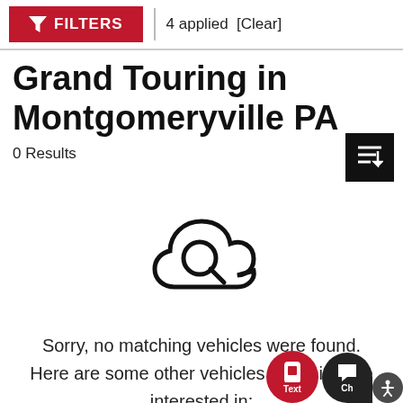FILTERS | 4 applied [Clear]
Grand Touring in Montgomeryville PA
0 Results
[Figure (illustration): Cloud with magnifying glass icon indicating no search results found]
Sorry, no matching vehicles were found. Here are some other vehicles you might be interested in: